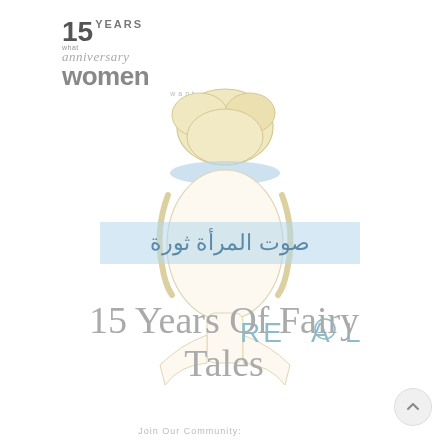[Figure (logo): 15 Years Anniversary what women want magazine logo in top left]
[Figure (illustration): Illustrated female face silhouette with blonde hair in an updo bun, light blue headband, minimalist outline style, with Arabic text banner across the face area]
صوت المرأة ثورة
REAL
15 Years Of Fairy Tales
Join Our Community: